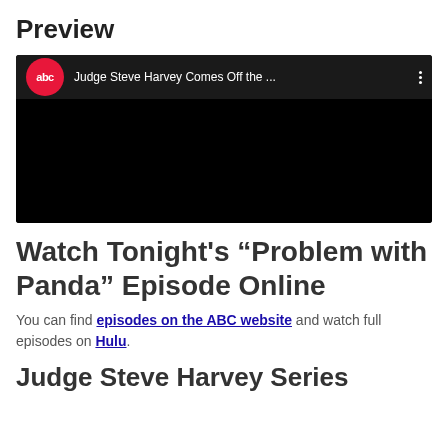Preview
[Figure (screenshot): Embedded YouTube-style video player with black background. Top bar shows ABC logo (red circle with 'abc' text) and title 'Judge Steve Harvey Comes Off the ...' with three-dot menu icon.]
Watch Tonight's “Problem with Panda” Episode Online
You can find episodes on the ABC website and watch full episodes on Hulu.
Judge Steve Harvey Series